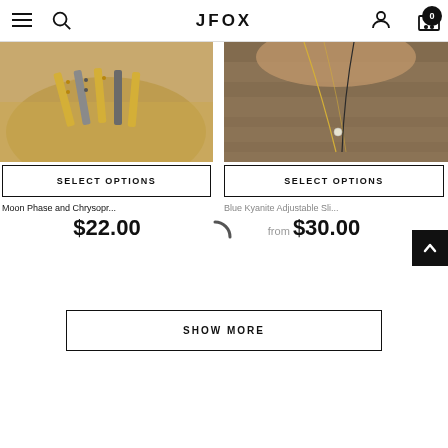JFOX — navigation header with menu, search, logo, user account, cart (0)
[Figure (photo): Top-down view of jewelry pieces including moon phase bar pendants in gold and silver tones on sandy surface in a bowl]
SELECT OPTIONS
Moon Phase and Chrysopr...
$22.00
[Figure (photo): Close-up of necklaces with small pendants draped on a wooden surface, gold chain and dark chain with small gemstone]
SELECT OPTIONS
Blue Kyanite Adjustable Sli...
from $30.00
SHOW MORE